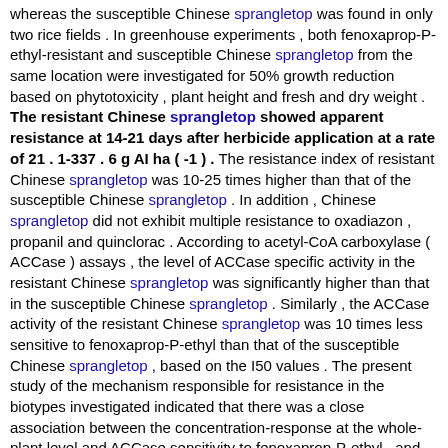whereas the susceptible Chinese sprangletop was found in only two rice fields . In greenhouse experiments , both fenoxaprop-P-ethyl-resistant and susceptible Chinese sprangletop from the same location were investigated for 50% growth reduction based on phytotoxicity , plant height and fresh and dry weight . The resistant Chinese sprangletop showed apparent resistance at 14-21 days after herbicide application at a rate of 21 . 1-337 . 6 g AI ha ( -1 ) . The resistance index of resistant Chinese sprangletop was 10-25 times higher than that of the susceptible Chinese sprangletop . In addition , Chinese sprangletop did not exhibit multiple resistance to oxadiazon , propanil and quinclorac . According to acetyl-CoA carboxylase ( ACCase ) assays , the level of ACCase specific activity in the resistant Chinese sprangletop was significantly higher than that in the susceptible Chinese sprangletop . Similarly , the ACCase activity of the resistant Chinese sprangletop was 10 times less sensitive to fenoxaprop-P-ethyl than that of the susceptible Chinese sprangletop , based on the I50 values . The present study of the mechanism responsible for resistance in the biotypes investigated indicated that there was a close association between the concentration-response at the whole-plant level and ACCase sensitivity to fenoxaprop-P-ethyl , and resistance to fenoxaprop-P-ethyl was conferred by a modified ACCase at the target site , as suggested by higher specific activity and less sensitivity to the herbicide . [ Sen. 6, subscore: 1.00 ]: From paddy field observations in 2002 and 2004 , fenoxaprop-P-ethyl resistance in Chinese sprangletop ( Leptochloa chinensis ( L ) Nees ) has been studied using information collected from 11 sites in the Saphan-Sung district of Bangkok , Thailand . The resistant Chinese sprangletop was found in nine rice fields , whereas the susceptible Chinese sprangletop was found in only two rice fields . In greenhouse experiments , both fenoxaprop-P-ethyl-resistant and susceptible Chinese sprangletop from the same location were